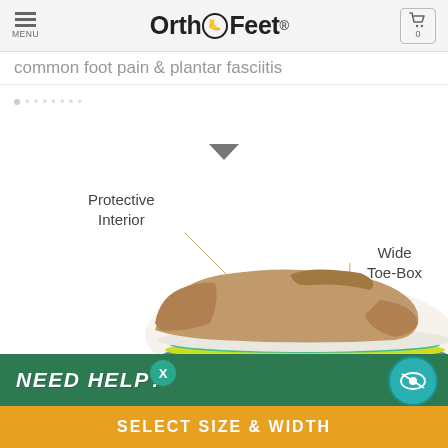MENU | OrthoFeet® | [cart: 0]
common foot pain & plantar fasciitis
[Figure (photo): OrthoFeet shoe with labeled features: Protective Interior and Wide Toe-Box, with colorful anatomical sole layers visible (teal, blue, yellow, green)]
Protective Interior
Wide Toe-Box
NEED HELP?
SELECT SIZE & WIDTH